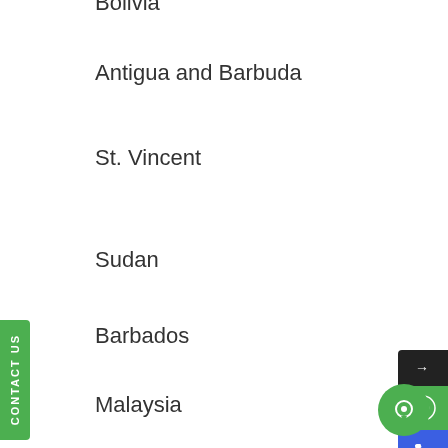Bolivia
Antigua and Barbuda
St. Vincent
Sudan
Barbados
Malaysia
[Figure (other): CONTACT US vertical green tab widget on left side]
[Figure (other): Right side floating widget panel with arrow, WhatsApp, phone, and scroll-up buttons]
[Figure (other): Green circular chat bubble icon at bottom right]